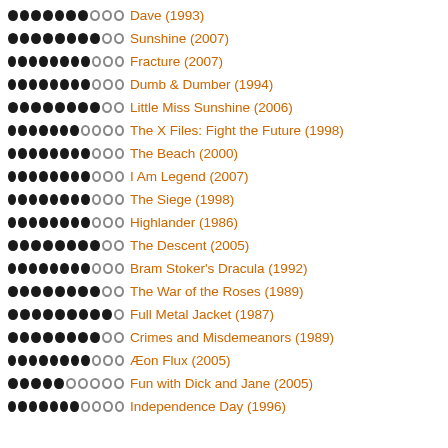Dave (1993)
Sunshine (2007)
Fracture (2007)
Dumb & Dumber (1994)
Little Miss Sunshine (2006)
The X Files: Fight the Future (1998)
The Beach (2000)
I Am Legend (2007)
The Siege (1998)
Highlander (1986)
The Descent (2005)
Bram Stoker's Dracula (1992)
The War of the Roses (1989)
Full Metal Jacket (1987)
Crimes and Misdemeanors (1989)
Æon Flux (2005)
Fun with Dick and Jane (2005)
Independence Day (1996)